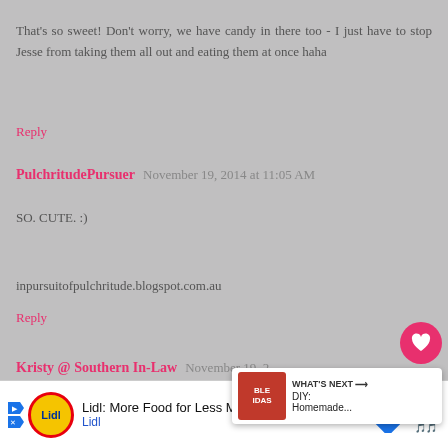That's so sweet! Don't worry, we have candy in there too - I just have to stop Jesse from taking them all out and eating them at once haha
Reply
PulchritudePursuer  November 19, 2014 at 11:05 AM
SO. CUTE. :)
inpursuitofpulchritude.blogspot.com.au
Reply
Kristy @ Southern In-Law  November 19, 2014 at [time] PM
Thank you! :)
[Figure (other): Advertisement bar at bottom: Lidl: More Food for Less Money with Lidl logo]
[Figure (other): WHAT'S NEXT overlay with thumbnail showing DIY: Homemade...]
[Figure (other): Heart (like) button - pink circle with heart icon]
[Figure (other): Share button - white circle with share icon]